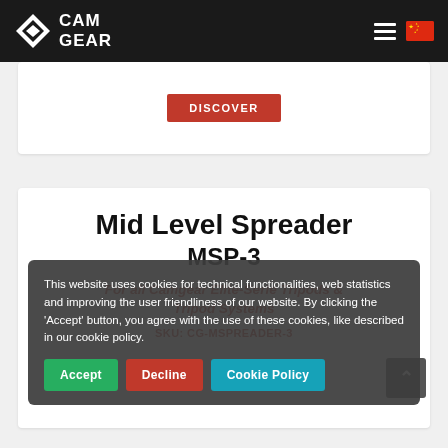CAM GEAR
[Figure (screenshot): DISCOVER button (partial top card)]
Mid Level Spreader
MSP-3
For all Camgear Elite-Serie Tripods & Tripod Systems
SKU: CG-MSPREADER-3
This website uses cookies for technical functionalities, web statistics and improving the user friendliness of our website. By clicking the 'Accept' button, you agree with the use of these cookies, like described in our cookie policy.
Accept
Decline
Cookie Policy